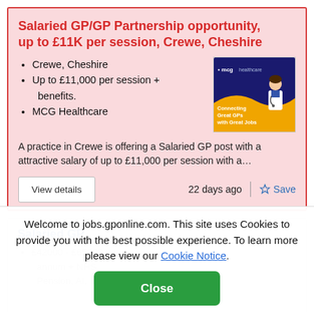Salaried GP/GP Partnership opportunity, up to £11K per session, Crewe, Cheshire
Crewe, Cheshire
Up to £11,000 per session + benefits.
MCG Healthcare
[Figure (logo): MCG Healthcare logo — dark blue background with 'mcg healthcare' text and 'Connecting Great GPs with Great Jobs' tagline, with illustrated GP figure in gold/white]
A practice in Crewe is offering a Salaried GP post with a attractive salary of up to £11,000 per session with a…
View details
22 days ago
Save
Salaried GP
£42000 - £65000 per annum + NHS Pension, AI, Indemnity...
Welcome to jobs.gponline.com. This site uses Cookies to provide you with the best possible experience. To learn more please view our Cookie Notice.
Close